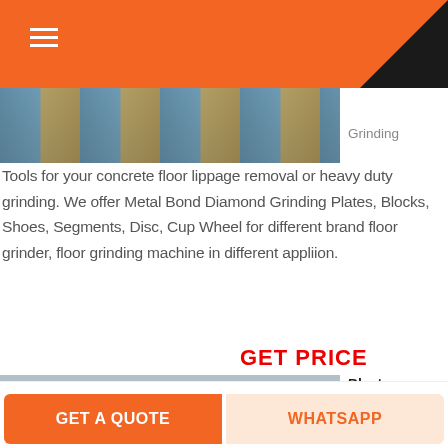[Figure (photo): Top photo strip showing concrete floor grinding equipment surface]
Grinding Tools for your concrete floor lippage removal or heavy duty grinding. We offer Metal Bond Diamond Grinding Plates, Blocks, Shoes, Segments, Disc, Cup Wheel for different brand floor grinder, floor grinding machine in different appliion.
GET PRICE
[Figure (photo): Industrial hammer mill / crusher machines in a warehouse facility, white and yellow colored heavy machinery]
Blastrac Grinders For decorative concrete appliions, use the
GET A QUOTE
WHATSAPP